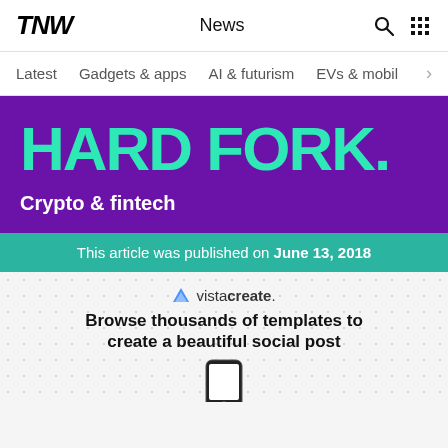TNW | News
Latest   Gadgets & apps   AI & futurism   EVs & mobil
HARD FORK.
Crypto & fintech
This article was published on June 13, 2018
[Figure (infographic): VistaCreate advertisement showing logo, headline 'Browse thousands of templates to create a beautiful social post', and phone mockup preview at bottom]
Browse thousands of templates to create a beautiful social post